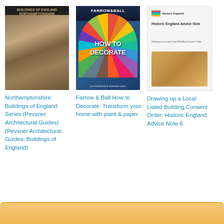[Figure (illustration): Book cover: Northamptonshire Buildings of England Series (Pevsner Architectural Guides) - dark cover with ornate building facade]
Northamptonshire: Buildings of England Series (Pevsner Architectural Guides) (Pevsner Architectural Guides: Buildings of England)
[Figure (illustration): Book cover: Farrow & Ball How to Decorate - dark blue cover with colorful paint fan deck and white title text]
Farrow & Ball How to Decorate: Transform your home with paint & paper
[Figure (illustration): Book cover: Drawing up a Local Listed Building Consent Order: Historic England Advice Note 6 - white cover with Historic England logo and building diagram]
Drawing up a Local Listed Building Consent Order: Historic England Advice Note 6